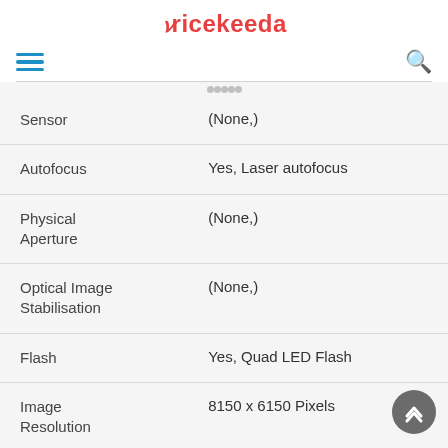Pricekeeda
| Spec | Value |
| --- | --- |
| Sensor | (None,) |
| Autofocus | Yes, Laser autofocus |
| Physical Aperture | (None,) |
| Optical Image Stabilisation | (None,) |
| Flash | Yes, Quad LED Flash |
| Image Resolution | 8150 x 6150 Pixels |